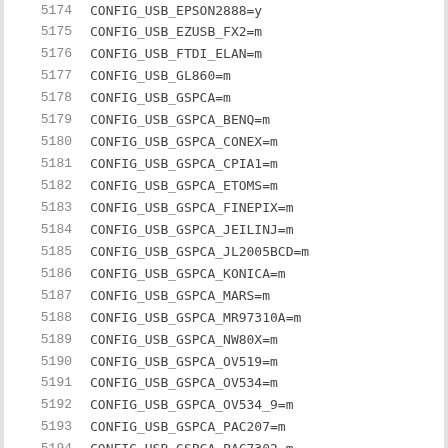| line | code |
| --- | --- |
| 5174 | CONFIG_USB_EPSON2888=y |
| 5175 | CONFIG_USB_EZUSB_FX2=m |
| 5176 | CONFIG_USB_FTDI_ELAN=m |
| 5177 | CONFIG_USB_GL860=m |
| 5178 | CONFIG_USB_GSPCA=m |
| 5179 | CONFIG_USB_GSPCA_BENQ=m |
| 5180 | CONFIG_USB_GSPCA_CONEX=m |
| 5181 | CONFIG_USB_GSPCA_CPIA1=m |
| 5182 | CONFIG_USB_GSPCA_ETOMS=m |
| 5183 | CONFIG_USB_GSPCA_FINEPIX=m |
| 5184 | CONFIG_USB_GSPCA_JEILINJ=m |
| 5185 | CONFIG_USB_GSPCA_JL2005BCD=m |
| 5186 | CONFIG_USB_GSPCA_KONICA=m |
| 5187 | CONFIG_USB_GSPCA_MARS=m |
| 5188 | CONFIG_USB_GSPCA_MR97310A=m |
| 5189 | CONFIG_USB_GSPCA_NW80X=m |
| 5190 | CONFIG_USB_GSPCA_OV519=m |
| 5191 | CONFIG_USB_GSPCA_OV534=m |
| 5192 | CONFIG_USB_GSPCA_OV534_9=m |
| 5193 | CONFIG_USB_GSPCA_PAC207=m |
| 5194 | CONFIG_USB_GSPCA_PAC7302=m |
| 5195 | CONFIG_USB_GSPCA_PAC7311=m |
| 5196 | CONFIG_USB_GSPCA_SE401=m |
| 5197 | CONFIG_USB_GSPCA_SN9C2028=m |